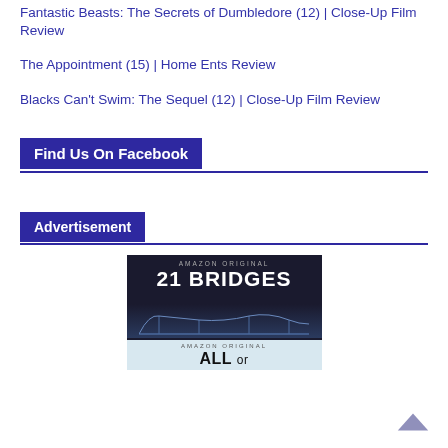Fantastic Beasts: The Secrets of Dumbledore (12) | Close-Up Film Review
The Appointment (15) | Home Ents Review
Blacks Can't Swim: The Sequel (12) | Close-Up Film Review
Find Us On Facebook
Advertisement
[Figure (photo): Advertisement image showing Amazon Original '21 Bridges' movie poster with a man in dark clothing and a bridge backdrop, and below it another Amazon Original 'ALL or...' partial poster.]